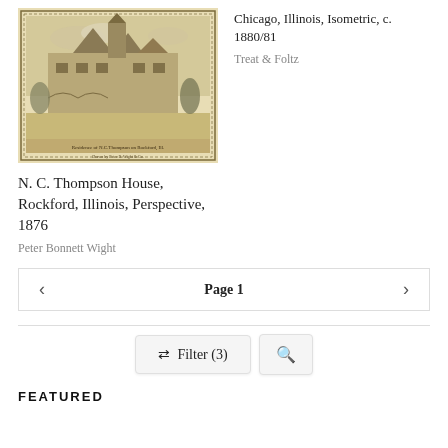[Figure (illustration): Vintage engraving/lithograph showing a large Victorian mansion with ornate architectural details, decorative border frame. Text along bottom edge reads 'Residence of [something] on [something]'.]
Chicago, Illinois, Isometric, c. 1880/81
Treat & Foltz
N. C. Thompson House, Rockford, Illinois, Perspective, 1876
Peter Bonnett Wight
Page 1
Filter (3)
FEATURED